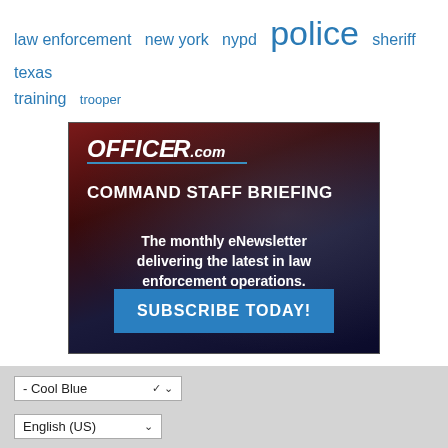law enforcement  new york  nypd  police  sheriff  texas  training  trooper
[Figure (screenshot): OFFICER.com Command Staff Briefing advertisement banner. Dark textured background with maroon/navy gradient. Logo reads OFFICER.com in white italic bold with blue underline. Headline: COMMAND STAFF BRIEFING. Body text: The monthly eNewsletter delivering the latest in law enforcement operations. Blue button at bottom reads: SUBSCRIBE TODAY!]
- Cool Blue
English (US)
Go to...